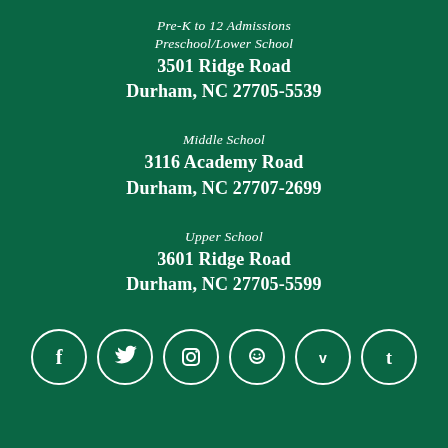Pre-K to 12 Admissions
Preschool/Lower School
3501 Ridge Road
Durham, NC 27705-5539
Middle School
3116 Academy Road
Durham, NC 27707-2699
Upper School
3601 Ridge Road
Durham, NC 27705-5599
[Figure (infographic): Six social media icons in white circles on green background: Facebook, Twitter, Instagram, a smiley/chat icon, Vimeo, Tumblr]